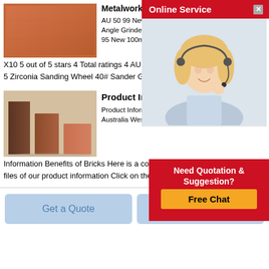[Figure (photo): A single red-orange rectangular brick viewed from a slight angle]
Metalworking Sanding Discs for sale
AU 50 99 New 100mm Flap Discs 4 Zirconia Wheels Angle Grinder Sanding Metal 40 60 80 120 # AU 31 95 New 100mm 40 60 80 120 # Wheels X10 5 out of 5 stars 4 Total ratings 4 AU 24 95 New Tra 5 Zirconia Sanding Wheel 40# Sander Grinding X100
[Figure (infographic): Online Service popup with a woman wearing a headset on a customer service overlay]
[Figure (photo): Three dark brown to light terracotta brick blocks of different heights arranged side by side]
Product Informa
Product Information NS your location New Sout Australia Western Austr Zealand Export Brochu Information Benefits of Bricks Here is a collection of downloadable PDF files of our product information Click on the desired brochure to view or
[Figure (infographic): Need Quotation & Suggestion? Free Chat popup button overlay]
Get a Quote
Chat Now